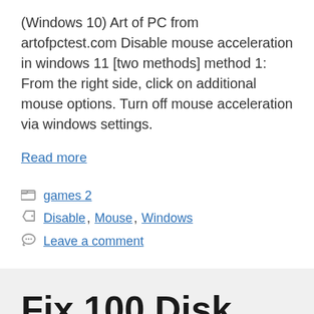(Windows 10) Art of PC from artofpctest.com Disable mouse acceleration in windows 11 [two methods] method 1: From the right side, click on additional mouse options. Turn off mouse acceleration via windows settings.
Read more
games 2
Disable, Mouse, Windows
Leave a comment
Fix 100 Disk Usage Windows 10